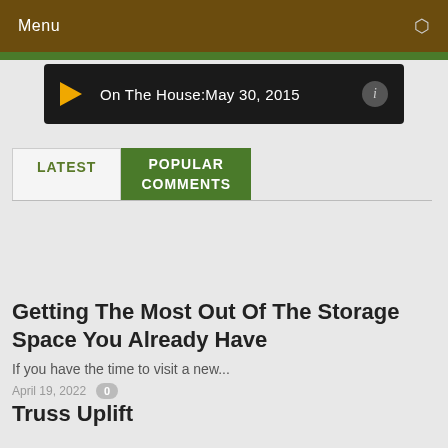Menu
[Figure (screenshot): Audio player bar showing play button and title 'On The House:May 30, 2015' with info icon]
LATEST | POPULAR COMMENTS
Getting The Most Out Of The Storage Space You Already Have
If you have the time to visit a new...
April 19, 2022   0
Truss Uplift